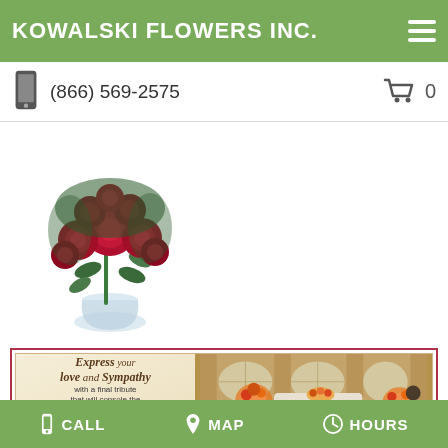KOWALSKI FLOWERS INC.
(866) 569-2575
[Figure (photo): Red roses bouquet in a glass vase]
[Figure (photo): Sympathy flowers banner with text: Express your love and Sympathy with a final tribute that will console the family and friends at the service, alongside a funeral chapel scene with casket and floral arrangements]
CALL  MAP  HOURS